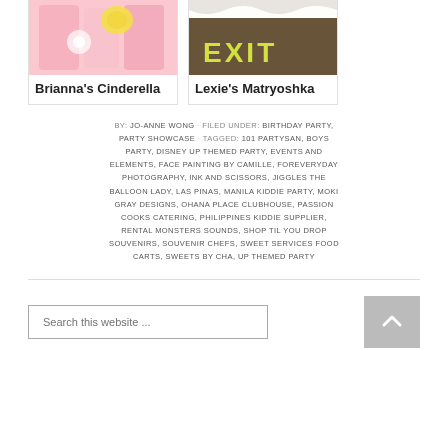[Figure (photo): Brianna's Cinderella party card with pink-toned image at top]
Brianna's Cinderella
[Figure (photo): Lexie's Matryoshka party card with wooden-toned image showing EXIT letters]
Lexie's Matryoshka
BY: JO-ANNE WONG · FILED UNDER: BIRTHDAY PARTY, PARTY SHOWCASE · TAGGED: 101 PARTYSAN, BOYS PARTY, DISNEY UP THEMED PARTY, EVENTS AND ELEMENTS, FACE PAINTING BY CAMILLE, FOREVERYDAY PHOTOGRAPHY, INK AND SCISSORS, JIGGLES THE BALLOON LADY, LAS PINAS, MANILA KIDDIE PARTY, MOKI GRAY DESIGNS, OHANA PLACE CLUBHOUSE, PASSION COOKS CATERING, PHILIPPINES KIDDIE SUPPLIER, RENTAL MONSTERS SOUNDS, SHOP TIL YOU DROP SOUVENIRS, SOUVENIR CHEFS, SWEET SERVICES FOOD CARTS, SWEETS BY CHA, UP THEMED PARTY
Search this website ...
[Figure (other): Back to top arrow button]